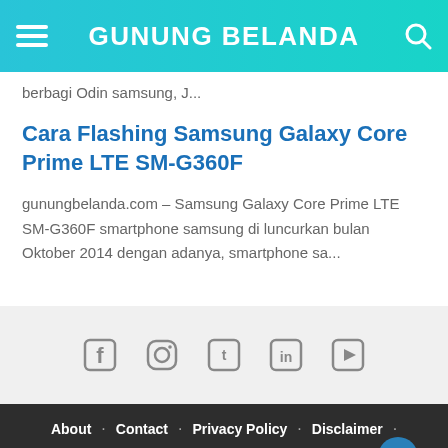GUNUNG BELANDA
berbagi Odin samsung, J...
Cara Flashing Samsung Galaxy Core Prime LTE SM-G360F
gunungbelanda.com – Samsung Galaxy Core Prime LTE SM-G360F smartphone samsung di luncurkan bulan Oktober 2014 dengan adanya, smartphone sa...
[Figure (other): Social media icons: Facebook, Instagram, Twitter, LinkedIn, YouTube]
About · Contact · Privacy Policy · Disclaimer · SDK · Link Error